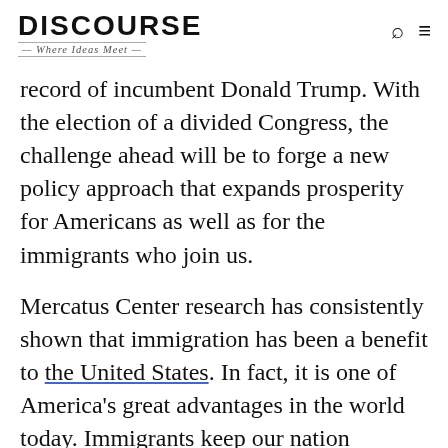DISCOURSE — Where Ideas Meet
record of incumbent Donald Trump. With the election of a divided Congress, the challenge ahead will be to forge a new policy approach that expands prosperity for Americans as well as for the immigrants who join us.
Mercatus Center research has consistently shown that immigration has been a benefit to the United States. In fact, it is one of America's great advantages in the world today. Immigrants keep our nation demographically young compared to other nations. They fuel growth in our economy by attracting innovation, creation, and...